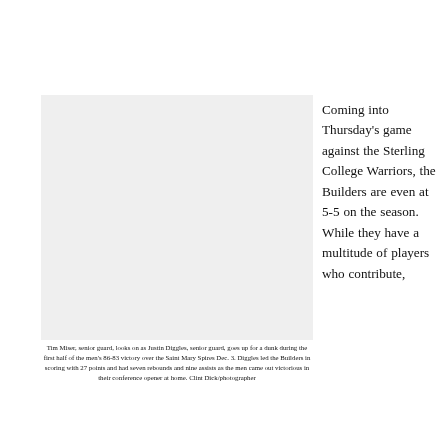[Figure (photo): Photo of Tim Miser and Justin Diggles during basketball game — grey placeholder]
Tim Miser, senior guard, looks on as Justin Diggles, senior guard, goes up for a dunk during the first half of the men's 86-83 victory over the Saint Mary Spires Dec. 3. Diggles led the Builders in scoring with 27 points and had seven rebounds and nine assists as the men came out victorious in their conference opener at home. Clint Dick/photographer
Coming into Thursday's game against the Sterling College Warriors, the Builders are even at 5-5 on the season. While they have a multitude of players who contribute,